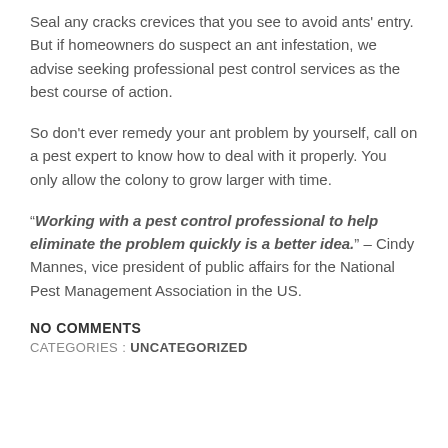Seal any cracks crevices that you see to avoid ants' entry. But if homeowners do suspect an ant infestation, we advise seeking professional pest control services as the best course of action.
So don't ever remedy your ant problem by yourself, call on a pest expert to know how to deal with it properly. You only allow the colony to grow larger with time.
“Working with a pest control professional to help eliminate the problem quickly is a better idea.” – Cindy Mannes, vice president of public affairs for the National Pest Management Association in the US.
NO COMMENTS
CATEGORIES : UNCATEGORIZED